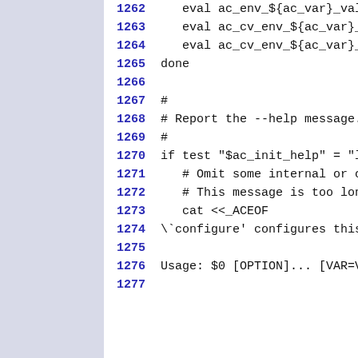1262    eval ac_env_${ac_var}_value
1263    eval ac_cv_env_${ac_var}_se
1264    eval ac_cv_env_${ac_var}_va
1265 done
1266
1267 #
1268 # Report the --help message.
1269 #
1270 if test "$ac_init_help" = "lo
1271    # Omit some internal or obs
1272    # This message is too long
1273    cat <<_ACEOF
1274 \`configure' configures this
1275
1276 Usage: $0 [OPTION]... [VAR=VA
1277